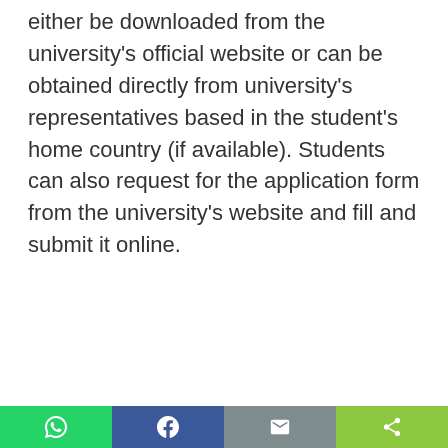either be downloaded from the university's official website or can be obtained directly from university's representatives based in the student's home country (if available). Students can also request for the application form from the university's website and fill and submit it online.
[Figure (other): Social share bar with four buttons: WhatsApp (green), Facebook (blue), Email (grey), Share (light green)]